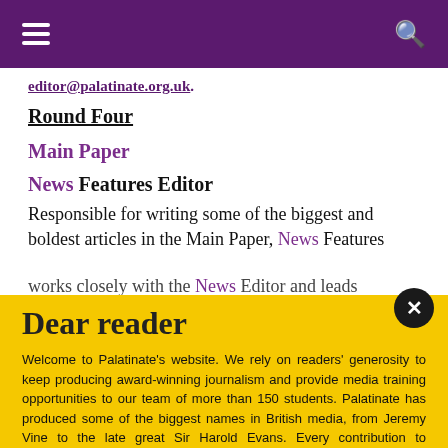editor@palatinate.org.uk.
Round Four
Main Paper
News Features Editor
Responsible for writing some of the biggest and boldest articles in the Main Paper, News Features works closely with the News Editor and leads...
Dear reader
Welcome to Palatinate's website. We rely on readers' generosity to keep producing award-winning journalism and provide media training opportunities to our team of more than 150 students. Palatinate has produced some of the biggest names in British media, from Jeremy Vine to the late great Sir Harold Evans. Every contribution to Palatinate is an investment into the future of journalism.
Donate